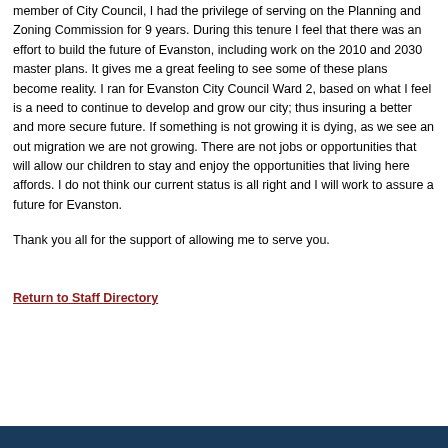member of City Council, I had the privilege of serving on the Planning and Zoning Commission for 9 years. During this tenure I feel that there was an effort to build the future of Evanston, including work on the 2010 and 2030 master plans. It gives me a great feeling to see some of these plans become reality. I ran for Evanston City Council Ward 2, based on what I feel is a need to continue to develop and grow our city; thus insuring a better and more secure future. If something is not growing it is dying, as we see an out migration we are not growing. There are not jobs or opportunities that will allow our children to stay and enjoy the opportunities that living here affords. I do not think our current status is all right and I will work to assure a future for Evanston.
Thank you all for the support of allowing me to serve you.
Return to Staff Directory